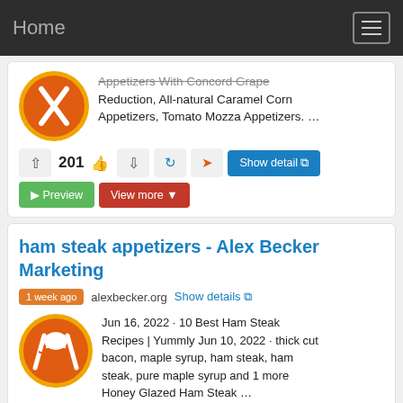Home
Appetizers With Concord Grape Reduction, All-natural Caramel Corn Appetizers, Tomato Mozza Appetizers. …
201
Show detail  Preview  View more
ham steak appetizers - Alex Becker Marketing
1 week ago  alexbecker.org  Show details
Jun 16, 2022  · 10 Best Ham Steak Recipes | Yummly Jun 10, 2022 · thick cut bacon, maple syrup, ham steak, ham steak, pure maple syrup and 1 more Honey Glazed Ham Steak …
Appetizer  Appetizers  82